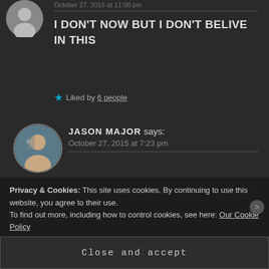[Figure (photo): Gray placeholder avatar circle for anonymous user, top left]
October 27, 2015 at 11:00 pm
I DON'T NOW BUT I DON'T BELIVE IN THIS
Liked by 6 people
[Figure (photo): Circular profile photo of Jason Major, a man taking a selfie]
JASON MAJOR says: October 27, 2015 at 7:23 pm
That's OK it's going to happen anyway. 😉
Privacy & Cookies: This site uses cookies. By continuing to use this website, you agree to their use.
To find out more, including how to control cookies, see here: Our Cookie Policy
Close and accept